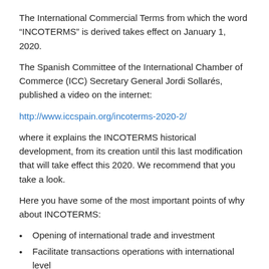The International Commercial Terms from which the word “INCOTERMS” is derived takes effect on January 1, 2020.
The Spanish Committee of the International Chamber of Commerce (ICC) Secretary General Jordi Sollarés, published a video on the internet:
http://www.iccspain.org/incoterms-2020-2/
where it explains the INCOTERMS historical development, from its creation until this last modification that will take effect this 2020. We recommend that you take a look.
Here you have some of the most important points of why about INCOTERMS:
Opening of international trade and investment
Facilitate transactions operations with international level
Help to identify the rights and obligations of where the delivery of the goods takes place and who assumes the risks of the purchase sale and to where.
Determine in which means of transport the goods travel and